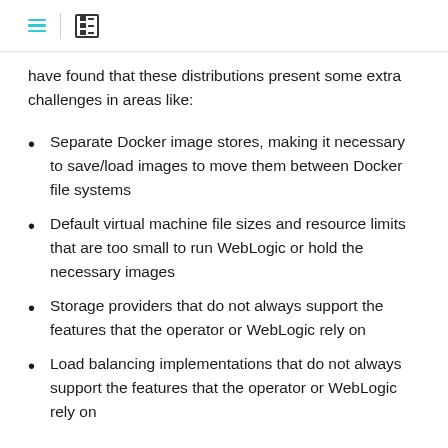[navigation icons]
have found that these distributions present some extra challenges in areas like:
Separate Docker image stores, making it necessary to save/load images to move them between Docker file systems
Default virtual machine file sizes and resource limits that are too small to run WebLogic or hold the necessary images
Storage providers that do not always support the features that the operator or WebLogic rely on
Load balancing implementations that do not always support the features that the operator or WebLogic rely on
As such, we do not recommend using these